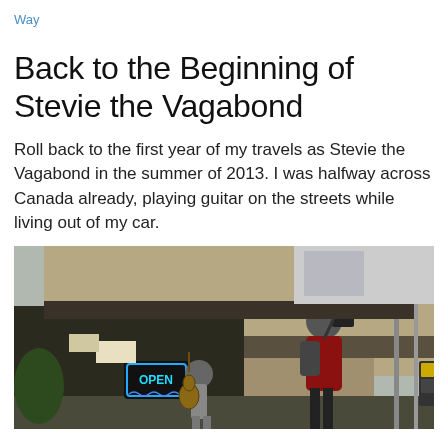Way
Back to the Beginning of Stevie the Vagabond
Roll back to the first year of my travels as Stevie the Vagabond in the summer of 2013. I was halfway across Canada already, playing guitar on the streets while living out of my car.
[Figure (photo): Street musician playing guitar outside a building with an OPEN neon sign, while a person in a red jacket with a camera stands nearby. Street lamps and trees visible in background.]